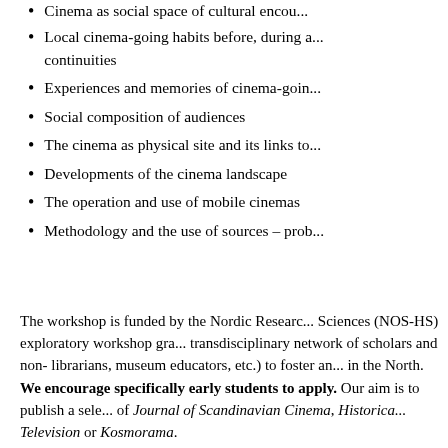Cinema as social space of cultural encou...
Local cinema-going habits before, during a... continuities
Experiences and memories of cinema-goin...
Social composition of audiences
The cinema as physical site and its links to...
Developments of the cinema landscape
The operation and use of mobile cinemas
Methodology and the use of sources – prob...
The workshop is funded by the Nordic Research Sciences (NOS-HS) exploratory workshop gra... transdisciplinary network of scholars and non-librarians, museum educators, etc.) to foster an... in the North. We encourage specifically early students to apply. Our aim is to publish a sele... of Journal of Scandinavian Cinema, Historica... Television or Kosmorama.